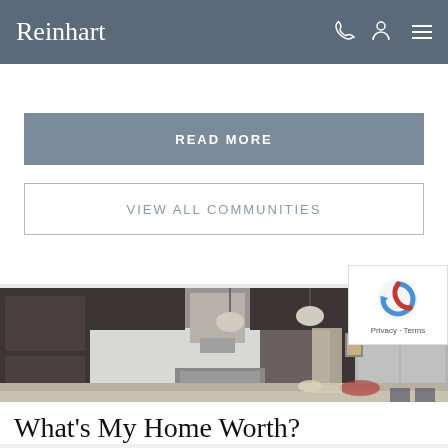Reinhart
READ MORE
VIEW ALL COMMUNITIES
[Figure (photo): Modern kitchen interior with dark wood cabinets, stainless steel appliances, a large island with granite countertop, pendant lights, and a range hood.]
What's My Home Worth?